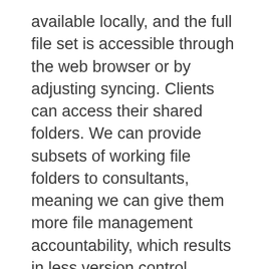available locally, and the full file set is accessible through the web browser or by adjusting syncing. Clients can access their shared folders. We can provide subsets of working file folders to consultants, meaning we can give them more file management accountability, which results in less version control issues. Once again, we're freed from the office and life is better!
Backups? We forget about that. Dropbox runs on Amazon Web Services and there is simply no concern about lost files. Accidental deletion? Never mind, Dropbox for Business keeps all historical versions of every file. Yes, all – the lot, for ever. No extra